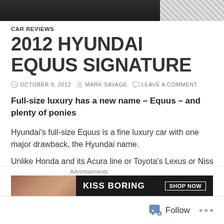[Figure (photo): Dark/black top image bar with hatched pattern on the right side]
CAR REVIEWS
2012 HYUNDAI EQUUS SIGNATURE
OCTOBER 9, 2012  MARK SAVAGE  LEAVE A COMMENT
Full-size luxury has a new name – Equus – and plenty of ponies
Hyundai's full-size Equus is a fine luxury car with one major drawback, the Hyundai name.
Unlike Honda and its Acura line or Toyota's Lexus or Nissan's
[Figure (photo): Advertisement banner: KISS BORING text with face photo and SHOP NOW button]
Follow
...